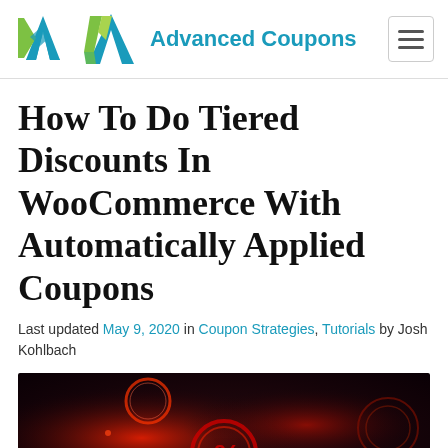Advanced Coupons
How To Do Tiered Discounts In WooCommerce With Automatically Applied Coupons
Last updated May 9, 2020 in Coupon Strategies, Tutorials by Josh Kohlbach
[Figure (photo): Dark atmospheric image with glowing red and circular neon light elements, suggesting discount or coupon theme]